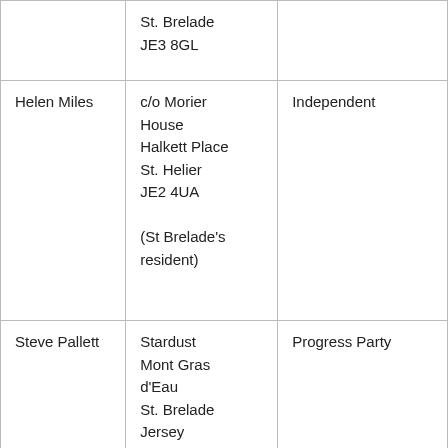|  | St. Brelade
JE3 8GL |  |
| Helen Miles | c/o Morier House
Halkett Place
St. Helier
JE2 4UA

(St Brelade's resident) | Independent |
| Steve Pallett | Stardust
Mont Gras d'Eau
St. Brelade
Jersey | Progress Party |